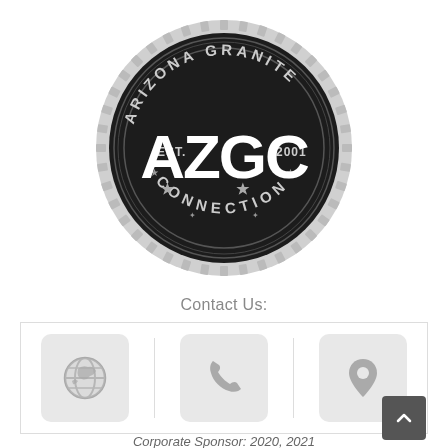[Figure (logo): Arizona Granite Connection circular badge logo. Black circle with gear/saw-tooth outer border. Text 'ARIZONA GRANITE' arcs along the top, 'CONNECTION' arcs along the bottom. Center shows large 'AZGC' lettering with 'EST.' on the left and '2001' on the right. Stars on lower left and right of center text. Inner decorative ring with small star accents.]
Contact Us:
[Figure (infographic): Row of three contact icons in a bordered box: a globe/world icon, a telephone handset icon, and a map pin/location marker icon. Each icon is on a light gray rounded square background. Separated by thin vertical dividers.]
Corporate Sponsor: 2020, 2021